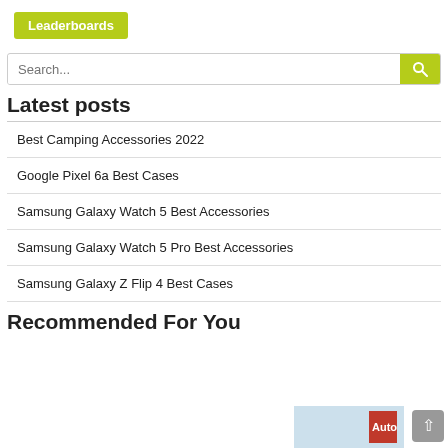Leaderboards
Search...
Latest posts
Best Camping Accessories 2022
Google Pixel 6a Best Cases
Samsung Galaxy Watch 5 Best Accessories
Samsung Galaxy Watch 5 Pro Best Accessories
Samsung Galaxy Z Flip 4 Best Cases
Recommended For You
[Figure (photo): Partial image of a car-related magazine (Auto) at the bottom right of the page]